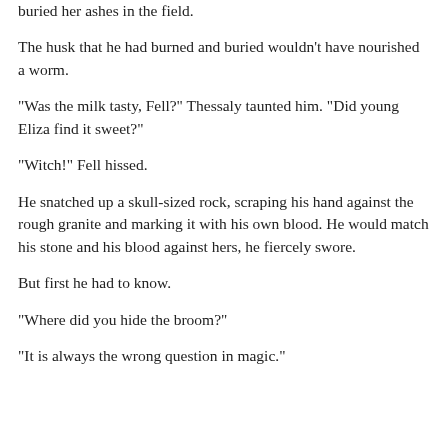buried her ashes in the field.
The husk that he had burned and buried wouldn’t have nourished a worm.
“Was the milk tasty, Fell?” Thessaly taunted him. “Did young Eliza find it sweet?”
“Witch!” Fell hissed.
He snatched up a skull-sized rock, scraping his hand against the rough granite and marking it with his own blood. He would match his stone and his blood against hers, he fiercely swore.
But first he had to know.
“Where did you hide the broom?”
“It is always the wrong question in magic.”